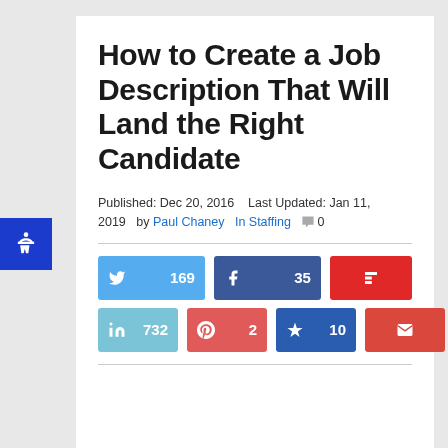How to Create a Job Description That Will Land the Right Candidate
Published: Dec 20, 2016   Last Updated: Jan 11, 2019   by Paul Chaney   In Staffing   0
[Figure (infographic): Social media sharing buttons: Twitter 169, Facebook 35, Flipboard, LinkedIn 732, Pinterest 2, Bookmark 10, Email]